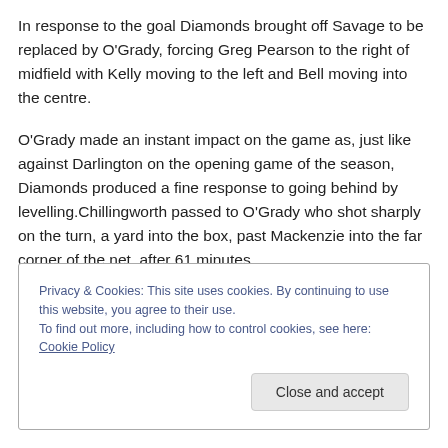In response to the goal Diamonds brought off Savage to be replaced by O'Grady, forcing Greg Pearson to the right of midfield with Kelly moving to the left and Bell moving into the centre.
O'Grady made an instant impact on the game as, just like against Darlington on the opening game of the season, Diamonds produced a fine response to going behind by levelling.Chillingworth passed to O'Grady who shot sharply on the turn, a yard into the box, past Mackenzie into the far corner of the net, after 61 minutes.
Privacy & Cookies: This site uses cookies. By continuing to use this website, you agree to their use. To find out more, including how to control cookies, see here: Cookie Policy